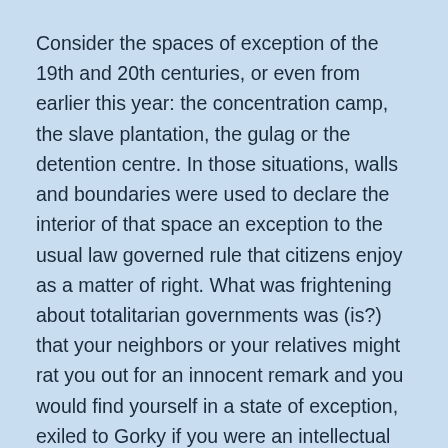Consider the spaces of exception of the 19th and 20th centuries, or even from earlier this year: the concentration camp, the slave plantation, the gulag or the detention centre. In those situations, walls and boundaries were used to declare the interior of that space an exception to the usual law governed rule that citizens enjoy as a matter of right. What was frightening about totalitarian governments was (is?) that your neighbors or your relatives might rat you out for an innocent remark and you would find yourself in a state of exception, exiled to Gorky if you were an intellectual or hauling rocks in Siberia if you were not.
What's new about our current situation is that the exception has become the rule—public spaces are off limits for everyone, we are confined to our homes or if you're less fortunate, you are hosed down with